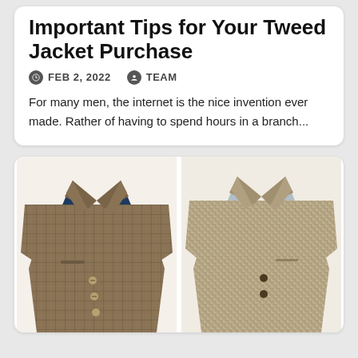Important Tips for Your Tweed Jacket Purchase
FEB 2, 2022  TEAM
For many men, the internet is the nice invention ever made. Rather of having to spend hours in a branch...
[Figure (photo): Two tweed blazer jackets side by side: left is a brown windowpane check tweed jacket with blue lining, right is a beige/tan houndstooth patterned tweed jacket with grey lining.]